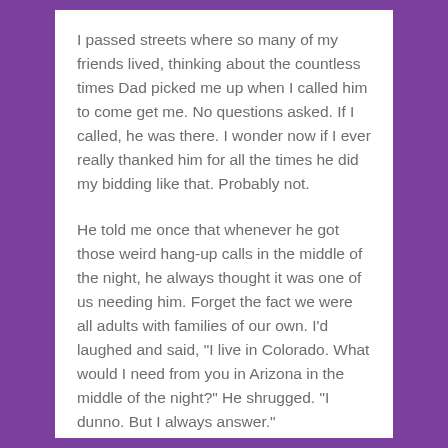I passed streets where so many of my friends lived, thinking about the countless times Dad picked me up when I called him to come get me. No questions asked. If I called, he was there. I wonder now if I ever really thanked him for all the times he did my bidding like that. Probably not.
He told me once that whenever he got those weird hang-up calls in the middle of the night, he always thought it was one of us needing him. Forget the fact we were all adults with families of our own. I'd laughed and said, "I live in Colorado. What would I need from you in Arizona in the middle of the night?" He shrugged. "I dunno. But I always answer."
And he always did.
I hope he knew I was grateful for the little things as well as